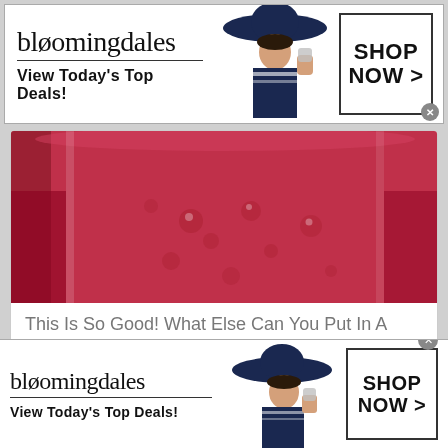[Figure (photo): Bloomingdale's advertisement banner at top: logo text 'bloomingdales', tagline 'View Today's Top Deals!', woman model with large hat, SHOP NOW > button]
[Figure (photo): Close-up photo of a red/pink smoothie in a glass jar with bubbles]
This Is So Good! What Else Can You Put In A Smoothie?
Herbeauty
[Figure (photo): Photo of a beagle dog in a field with tall grass]
[Figure (photo): Bloomingdale's advertisement banner at bottom: logo text 'bloomingdales', tagline 'View Today's Top Deals!', woman model with large hat, SHOP NOW > button]